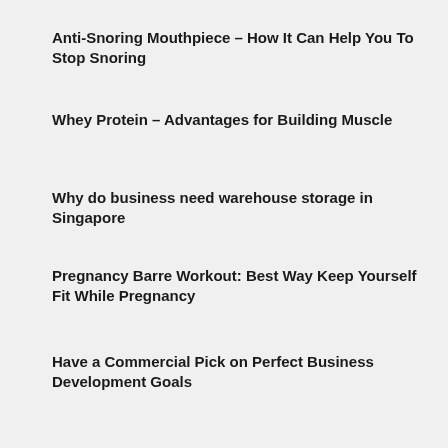Anti-Snoring Mouthpiece – How It Can Help You To Stop Snoring
Whey Protein – Advantages for Building Muscle
Why do business need warehouse storage in Singapore
Pregnancy Barre Workout: Best Way Keep Yourself Fit While Pregnancy
Have a Commercial Pick on Perfect Business Development Goals